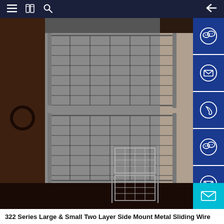Navigation bar with menu, book, search icons and back arrow
[Figure (photo): Photo of a two-layer side-mount metal sliding wire basket drawer system installed in a dark wood cabinet. Two wire mesh baskets are shown pulled out. A small schematic line drawing of the wire basket is visible in the lower right corner of the photo.]
322 Series Large & Small Two Layer Side Mount Metal Sliding Wire